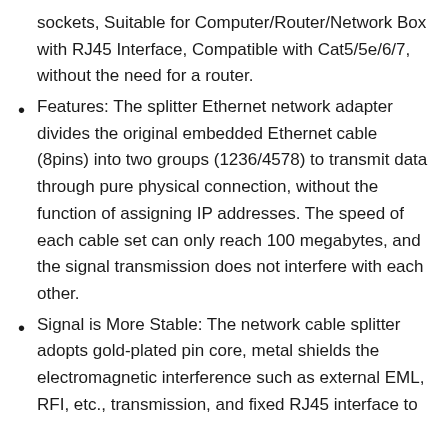sockets, Suitable for Computer/Router/Network Box with RJ45 Interface, Compatible with Cat5/5e/6/7, without the need for a router.
Features: The splitter Ethernet network adapter divides the original embedded Ethernet cable (8pins) into two groups (1236/4578) to transmit data through pure physical connection, without the function of assigning IP addresses. The speed of each cable set can only reach 100 megabytes, and the signal transmission does not interfere with each other.
Signal is More Stable: The network cable splitter adopts gold-plated pin core, metal shields the electromagnetic interference such as external EML, RFI, etc., transmission, and fixed RJ45 interface to